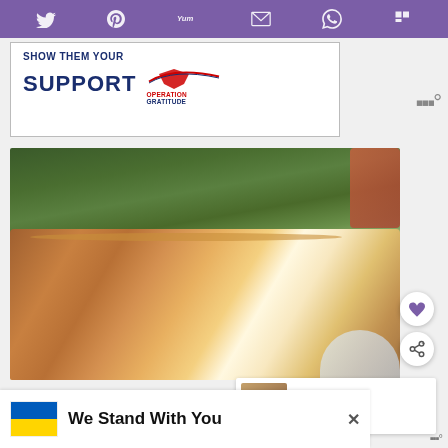[Figure (screenshot): Purple social sharing toolbar with Twitter, Pinterest, Yummly, Email, WhatsApp, and Flipboard icons]
[Figure (screenshot): Advertisement banner: SHOW THEM YOUR SUPPORT with Operation Gratitude logo]
[Figure (photo): Close-up photograph of sliced bread loaf in a basket with green foliage in the background, person's hand visible]
WHAT'S NEXT → Corinthia Budapest...
[Figure (screenshot): Ukraine flag advertisement: We Stand With You]